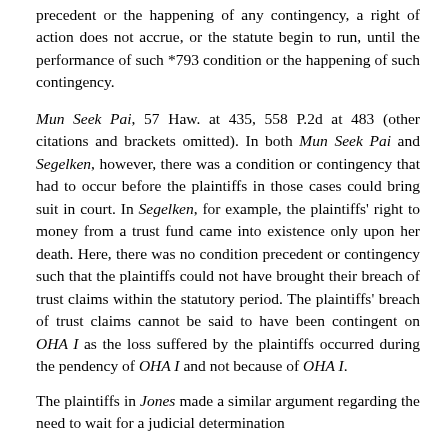precedent or the happening of any contingency, a right of action does not accrue, or the statute begin to run, until the performance of such *793 condition or the happening of such contingency.
Mun Seek Pai, 57 Haw. at 435, 558 P.2d at 483 (other citations and brackets omitted). In both Mun Seek Pai and Segelken, however, there was a condition or contingency that had to occur before the plaintiffs in those cases could bring suit in court. In Segelken, for example, the plaintiffs' right to money from a trust fund came into existence only upon her death. Here, there was no condition precedent or contingency such that the plaintiffs could not have brought their breach of trust claims within the statutory period. The plaintiffs' breach of trust claims cannot be said to have been contingent on OHA I as the loss suffered by the plaintiffs occurred during the pendency of OHA I and not because of OHA I.
The plaintiffs in Jones made a similar argument regarding the need to wait for a judicial determination